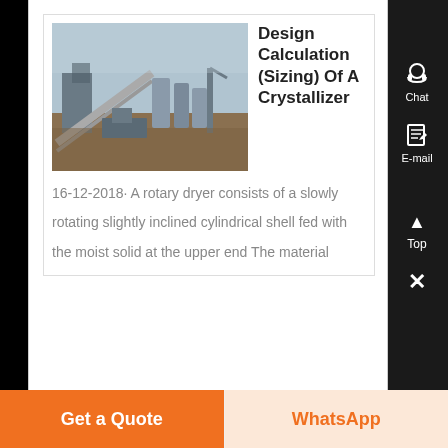[Figure (photo): Aerial/ground-level photo of an industrial mining or processing facility with large structures and equipment.]
Design Calculation (Sizing) Of A Crystallizer
16-12-2018· A rotary dryer consists of a slowly rotating slightly inclined cylindrical shell fed with the moist solid at the upper end The material